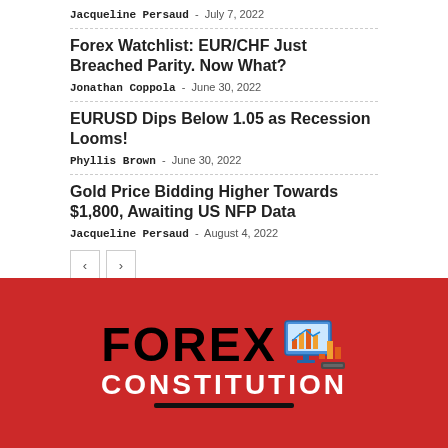Jacqueline Persaud - July 7, 2022
Forex Watchlist: EUR/CHF Just Breached Parity. Now What?
Jonathan Coppola - June 30, 2022
EURUSD Dips Below 1.05 as Recession Looms!
Phyllis Brown - June 30, 2022
Gold Price Bidding Higher Towards $1,800, Awaiting US NFP Data
Jacqueline Persaud - August 4, 2022
[Figure (logo): Forex Constitution logo with red background, black FOREX text, chart icon, and white CONSTITUTION text]